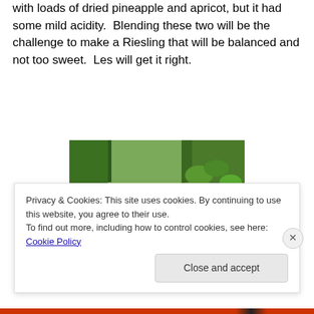with loads of dried pineapple and apricot, but it had some mild acidity.  Blending these two will be the challenge to make a Riesling that will be balanced and not too sweet.  Les will get it right.
[Figure (photo): A man crouching in a vineyard next to grape vines with dark purple grape clusters visible]
Privacy & Cookies: This site uses cookies. By continuing to use this website, you agree to their use.
To find out more, including how to control cookies, see here: Cookie Policy
Close and accept